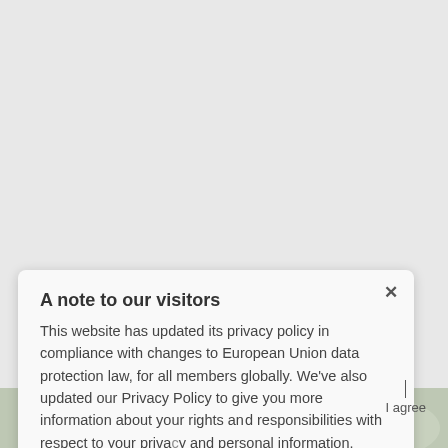A note to our visitors
This website has updated its privacy policy in compliance with changes to European Union data protection law, for all members globally. We've also updated our Privacy Policy to give you more information about your rights and responsibilities with respect to your privacy and personal information. Please read this to review the updates about which cookies we use and what information we collect on our site. By continuing to use this site, you are agreeing to our updated privacy policy.
[Figure (photo): Partial photo of people visible at the bottom of the page behind the modal overlay]